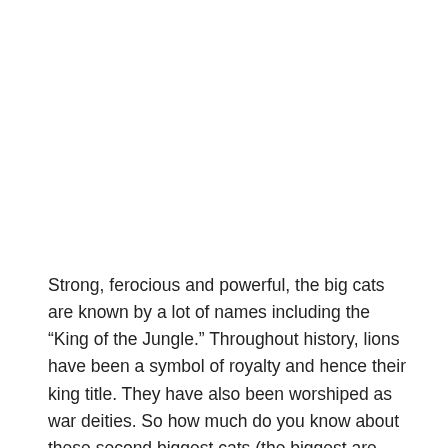Strong, ferocious and powerful, the big cats are known by a lot of names including the “King of the Jungle.” Throughout history, lions have been a symbol of royalty and hence their king title. They have also been worshiped as war deities. So how much do you know about these second biggest cats (the biggest are tigers)?  Take a look at these 10 fun facts about lions to know more about these strong but sociable cats.